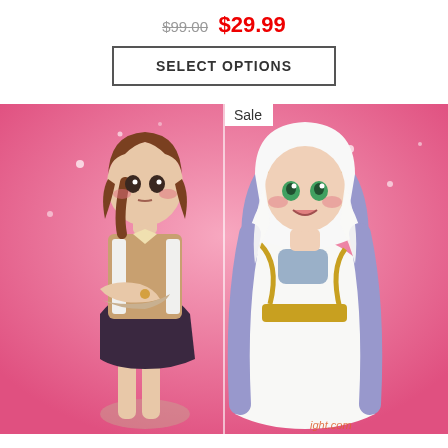$99.00  $29.99
SELECT OPTIONS
[Figure (illustration): Two anime characters on a pink sparkle background. Left character: brown-haired girl in school uniform with dark skirt, arms crossed. Right character: purple-haired girl in white outfit with gold trim and white head covering, smiling. A 'Sale' badge appears in the top-left corner of the image. Watermark text visible at bottom right.]